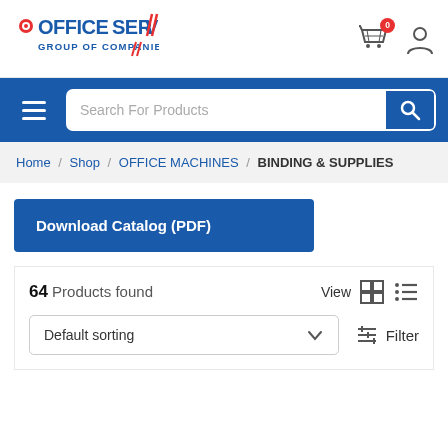[Figure (logo): Office Serv Group of Companies logo with blue text and red slash/checkmark accents]
[Figure (screenshot): Shopping cart icon with red badge showing 0, and user profile icon]
[Figure (screenshot): Navigation bar with hamburger menu, search bar with placeholder 'Search For Products', and blue search button with magnifying glass icon]
Home / Shop / OFFICE MACHINES / BINDING & SUPPLIES
Download Catalog (PDF)
64 Products found
View
Default sorting
Filter